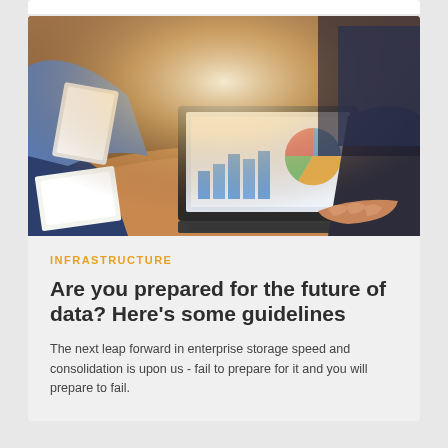[Figure (photo): Business meeting scene: two people at a wooden table, one using a laptop displaying charts, another holding papers. Warm lighting with a sunburst effect from upper center.]
INFRASTRUCTURE
Are you prepared for the future of data? Here’s some guidelines
The next leap forward in enterprise storage speed and consolidation is upon us - fail to prepare for it and you will prepare to fail.